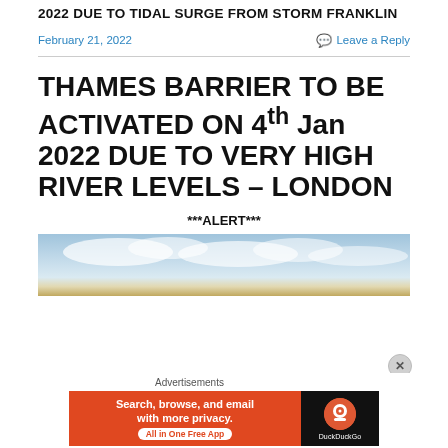2022 DUE TO TIDAL SURGE FROM STORM FRANKLIN
February 21, 2022
Leave a Reply
THAMES BARRIER TO BE ACTIVATED ON 4th Jan 2022 DUE TO VERY HIGH RIVER LEVELS – LONDON
***ALERT***
[Figure (photo): Photograph of sky with clouds, likely showing the Thames river area]
Advertisements
[Figure (screenshot): DuckDuckGo advertisement banner: Search, browse, and email with more privacy. All in One Free App]